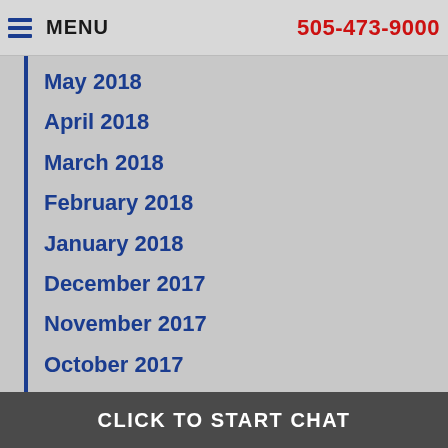MENU  505-473-9000
May 2018
April 2018
March 2018
February 2018
January 2018
December 2017
November 2017
October 2017
September 2017
gust 2017
CLICK TO START CHAT